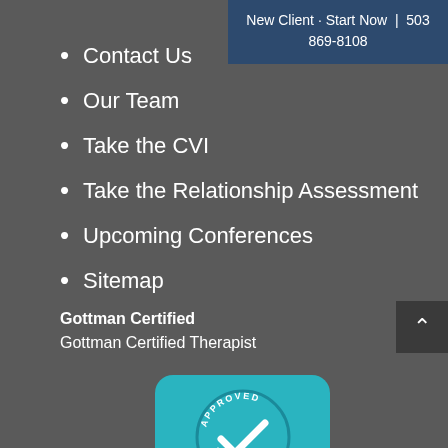New Client · Start Now | 503 869-8108
Contact Us
Our Team
Take the CVI
Take the Relationship Assessment
Upcoming Conferences
Sitemap
Gottman Certified
Gottman Certified Therapist
[Figure (logo): Approved Member badge for The Gottman Relationship CHECKUP, circular seal with checkmark, teal background]